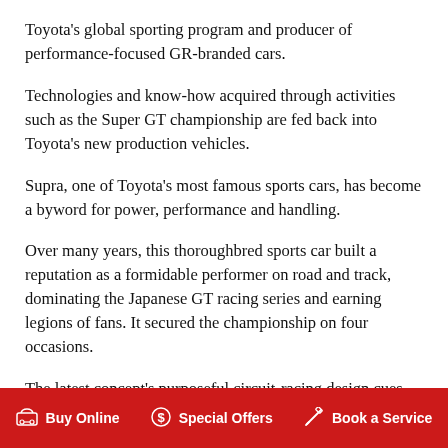Toyota's global sporting program and producer of performance-focused GR-branded cars.
Technologies and know-how acquired through activities such as the Super GT championship are fed back into Toyota's new production vehicles.
Supra, one of Toyota's most famous sports cars, has become a byword for power, performance and handling.
Over many years, this thoroughbred sports car built a reputation as a formidable performer on road and track, dominating the Japanese GT racing series and earning legions of fans. It secured the championship on four occasions.
The latest concept's purposeful circuit-racing design cues make extensive use of state-of-the-art composite materials to ensure both rigidity and lightness.
Buy Online   Special Offers   Book a Service